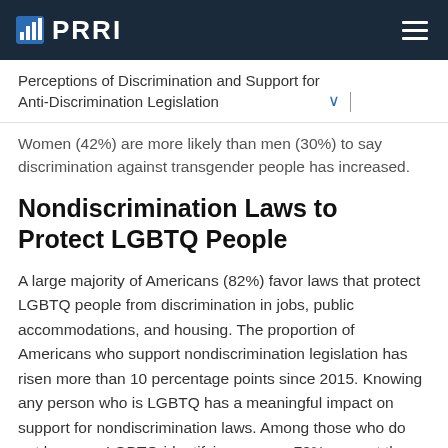PRRI
Perceptions of Discrimination and Support for Anti-Discrimination Legislation
Women (42%) are more likely than men (30%) to say discrimination against transgender people has increased.
Nondiscrimination Laws to Protect LGBTQ People
A large majority of Americans (82%) favor laws that protect LGBTQ people from discrimination in jobs, public accommodations, and housing. The proportion of Americans who support nondiscrimination legislation has risen more than 10 percentage points since 2015. Knowing any person who is LGBTQ has a meaningful impact on support for nondiscrimination laws. Among those who do not know an LGBTQ-identifying person, 72% support the laws, compared to 87% of those who do.